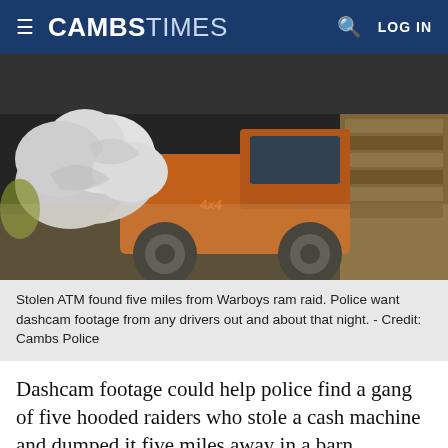CAMBS TIMES
[Figure (photo): Orange 4x4 pickup truck inside a dark barn or warehouse. Large white bags/tarpaulin are loaded on the back of the truck. Wooden pallets visible to the right. A stolen ATM is hidden under the white material.]
Stolen ATM found five miles from Warboys ram raid. Police want dashcam footage from any drivers out and about that night. - Credit: Cambs Police
Dashcam footage could help police find a gang of five hooded raiders who stole a cash machine and dumped it five miles away in a barn.